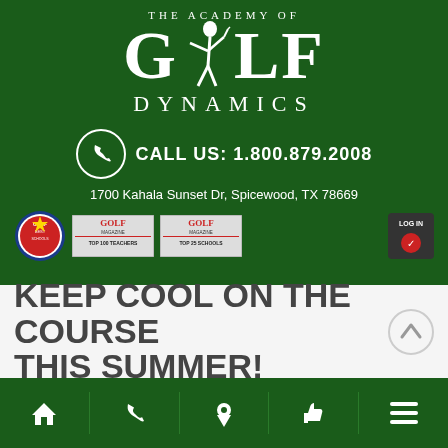[Figure (logo): The Academy of Golf Dynamics logo — large green background with white text 'THE ACADEMY OF' above large 'GOLF' with golfer silhouette, then 'DYNAMICS' below]
CALL US: 1.800.879.2008
1700 Kahala Sunset Dr, Spicewood, TX 78669
[Figure (logo): Three badge logos: Golf Best Schools seal (red/white/blue circular badge), Golf Magazine Top 100 Teachers, Golf Magazine Top 25 Schools, and a Login button badge on the right]
KEEP COOL ON THE COURSE THIS SUMMER!
[Figure (infographic): Dark green mobile navigation bar with 5 icons: home, phone, map pin, thumbs up, menu (hamburger)]